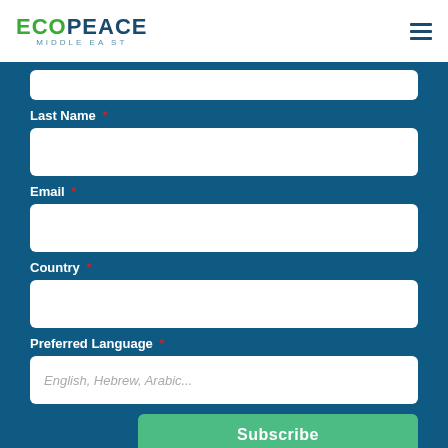ECOPEACE MIDDLE EAST
Last Name *
Email *
Country *
Preferred Language *
Subscribe